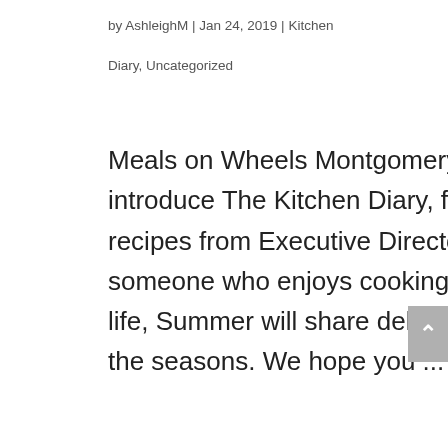by AshleighM | Jan 24, 2019 | Kitchen Diary, Uncategorized
Meals on Wheels Montgomery County is proud to introduce The Kitchen Diary, featuring favorite recipes from Executive Director Summer Day. As someone who enjoys cooking and living a healthy life, Summer will share delicious recipes relevant to the seasons. We hope you ...